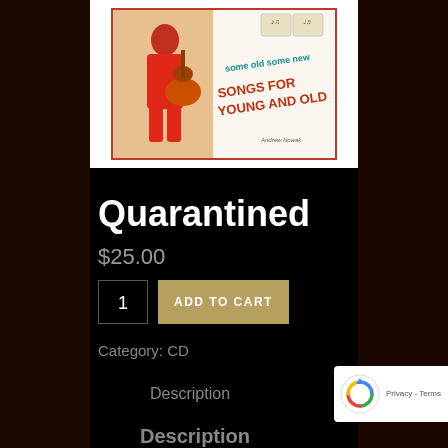[Figure (photo): Album cover art for 'Quarantined' CD - white background with red border, showing a performer in red suit playing guitar on left side, and text 'some old some new SONGS FOR YOUNG AND OLD' on right side with musical note graphics]
Quarantined
$25.00
Category: CD
Description
Description